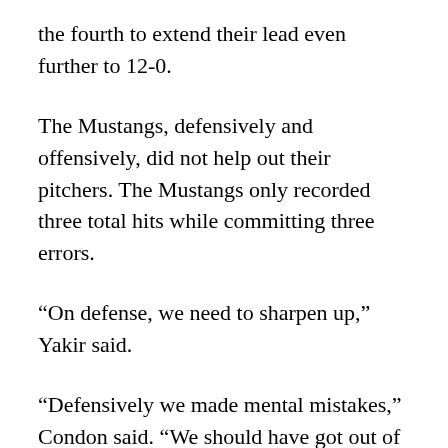the fourth to extend their lead even further to 12-0.
The Mustangs, defensively and offensively, did not help out their pitchers. The Mustangs only recorded three total hits while committing three errors.
“On defense, we need to sharpen up,” Yakir said.
“Defensively we made mental mistakes,” Condon said. “We should have got out of that [third] inning with only one run, but we could not stop the bleeding so we gave